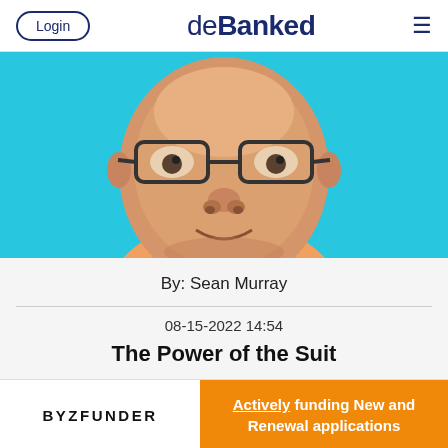Login | deBanked
[Figure (photo): Close-up photo of a smiling middle-aged man wearing glasses, against a cyan/turquoise background, with a yellow collar visible.]
By: Sean Murray
08-15-2022 14:54
The Power of the Suit
[Figure (infographic): Advertisement banner: BYZFUNDER logo on the left, orange background on the right with text 'Actively funding New and Renewal applications']